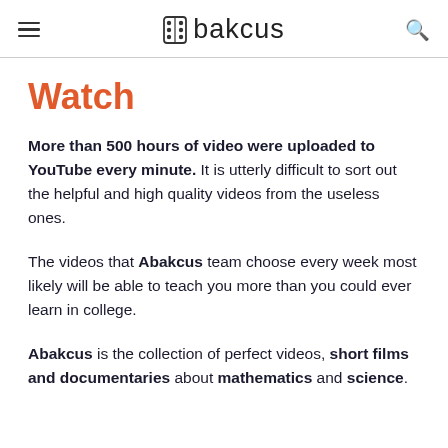Abakcus
Watch
More than 500 hours of video were uploaded to YouTube every minute. It is utterly difficult to sort out the helpful and high quality videos from the useless ones.
The videos that Abakcus team choose every week most likely will be able to teach you more than you could ever learn in college.
Abakcus is the collection of perfect videos, short films and documentaries about mathematics and science.